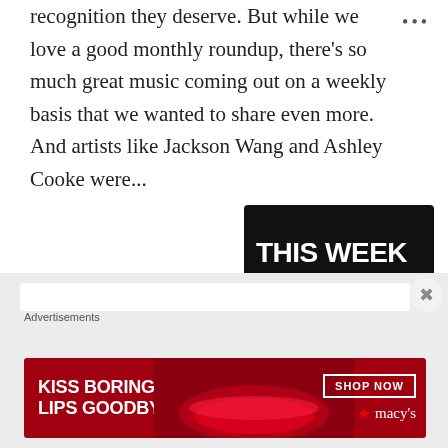recognition they deserve. But while we love a good monthly roundup, there's so much great music coming out on a weekly basis that we wanted to share even more. And artists like Jackson Wang and Ashley Cooke were...
READ MORE
[Figure (other): A dark promotional image badge with bold white text reading 'THIS WEEK IN MUSIC' where 'MUSIC' is in red, and the TREMG logo at bottom.]
[Figure (other): Advertisements section with a Macy's lipstick ad reading 'KISS BORING LIPS GOODBYE' with a 'SHOP NOW' button and Macy's star logo, showing a woman's lips.]
Advertisements